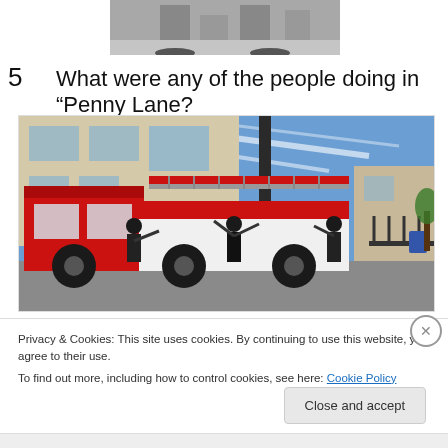[Figure (photo): Top portion of a black and white photo showing legs/feet of a person, cropped at top of page.]
5   What were any of the people doing in “Penny Lane?
[Figure (photo): Photo of people cleaning or washing a large red fire engine/truck outside a building with blue sky in background.]
Privacy & Cookies: This site uses cookies. By continuing to use this website, you agree to their use.
To find out more, including how to control cookies, see here: Cookie Policy
Close and accept